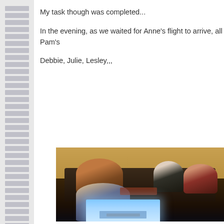My task though was completed...
In the evening, as we waited for Anne's flight to arrive, all Pam's
Debbie, Julie, Lesley,,,
[Figure (photo): People sitting on a dark leather sofa in a dimly lit room, illuminated partly by a laptop or screen in the foreground showing a bright blue-white glow. Three people visible on the sofa and one person in the foreground.]